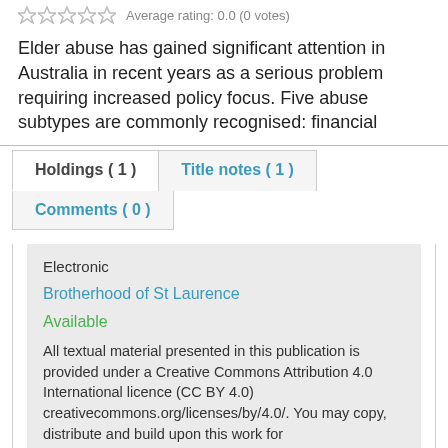Average rating: 0.0 (0 votes)
Elder abuse has gained significant attention in Australia in recent years as a serious problem requiring increased policy focus. Five abuse subtypes are commonly recognised: financial
| Holdings ( 1 ) | Title notes ( 1 ) |
| --- | --- |
| Comments ( 0 ) |  |
Electronic
Brotherhood of St Laurence
Available
All textual material presented in this publication is provided under a Creative Commons Attribution 4.0 International licence (CC BY 4.0) creativecommons.org/licenses/by/4.0/. You may copy, distribute and build upon this work for